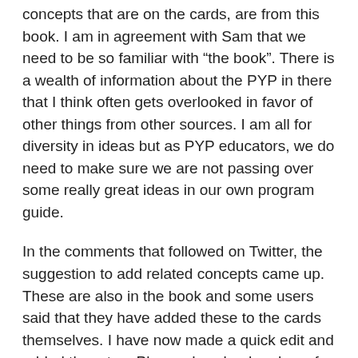concepts that are on the cards, are from this book. I am in agreement with Sam that we need to be so familiar with “the book”. There is a wealth of information about the PYP in there that I think often gets overlooked in favor of other things from other sources. I am all for diversity in ideas but as PYP educators, we do need to make sure we are not passing over some really great ideas in our own program guide.
In the comments that followed on Twitter, the suggestion to add related concepts came up. These are also in the book and some users said that they have added these to the cards themselves. I have now made a quick edit and added them too. Please download and use for good!
Happy conceptual thinking and questioning!